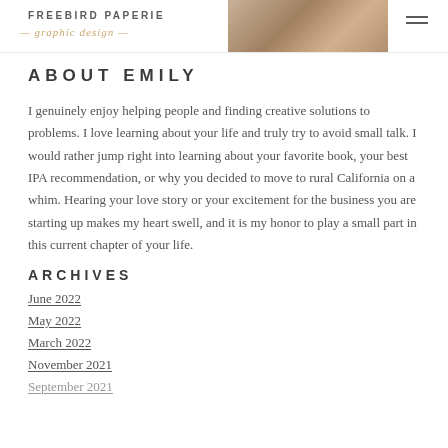FREEBIRD PAPERIE graphic design
ABOUT EMILY
I genuinely enjoy helping people and finding creative solutions to problems. I love learning about your life and truly try to avoid small talk. I would rather jump right into learning about your favorite book, your best IPA recommendation, or why you decided to move to rural California on a whim. Hearing your love story or your excitement for the business you are starting up makes my heart swell, and it is my honor to play a small part in this current chapter of your life.
ARCHIVES
June 2022
May 2022
March 2022
November 2021
September 2021